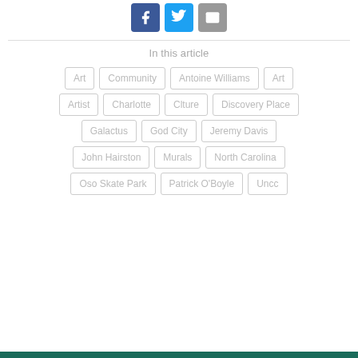[Figure (infographic): Three social share buttons: Facebook (blue), Twitter (cyan), Email (gray)]
In this article
Art
Community
Antoine Williams
Art
Artist
Charlotte
Clture
Discovery Place
Galactus
God City
Jeremy Davis
John Hairston
Murals
North Carolina
Oso Skate Park
Patrick O'Boyle
Uncc